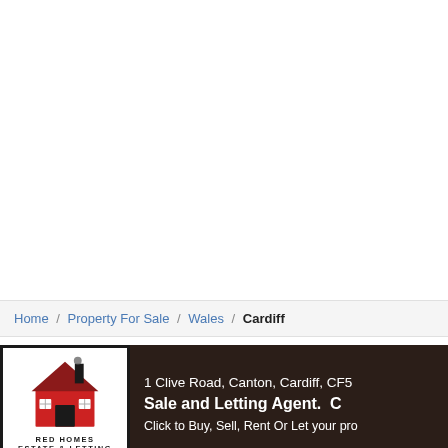Home / Property For Sale / Wales / Cardiff
[Figure (logo): Red Homes Estate & Letting logo showing a red house illustration inside a black border frame with the text RED HOMES ESTATE & LETTING below]
1 Clive Road, Canton, Cardiff, CF5
Sale and Letting Agent. C
Click to Buy, Sell, Rent Or Let your pro